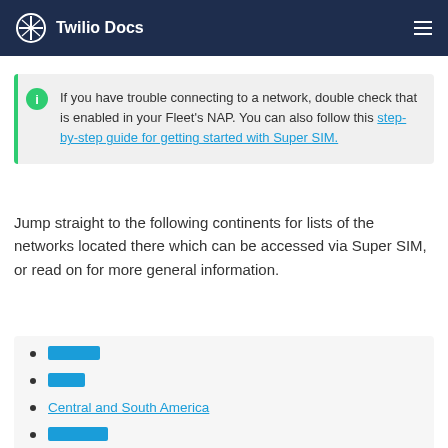Twilio Docs
If you have trouble connecting to a network, double check that is enabled in your Fleet's NAP. You can also follow this step-by-step guide for getting started with Super SIM.
Jump straight to the following continents for lists of the networks located there which can be accessed via Super SIM, or read on for more general information.
[redacted link]
[redacted link]
Central and South America
[redacted link]